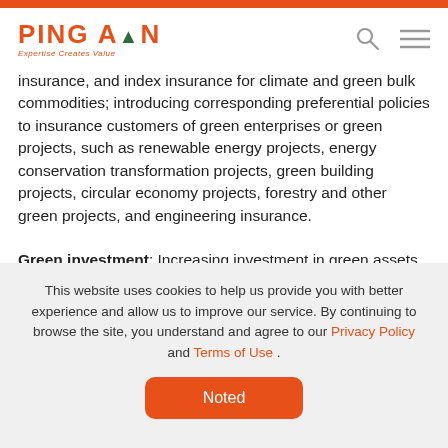PING AN — Expertise Creates Value
insurance, and index insurance for climate and green bulk commodities; introducing corresponding preferential policies to insurance customers of green enterprises or green projects, such as renewable energy projects, energy conservation transformation projects, green building projects, circular economy projects, forestry and other green projects, and engineering insurance.
Green investment: Increasing investment in green assets, including, but not limited to, listed company stocks
This website uses cookies to help us provide you with better experience and allow us to improve our service. By continuing to browse the site, you understand and agree to our Privacy Policy and Terms of Use .